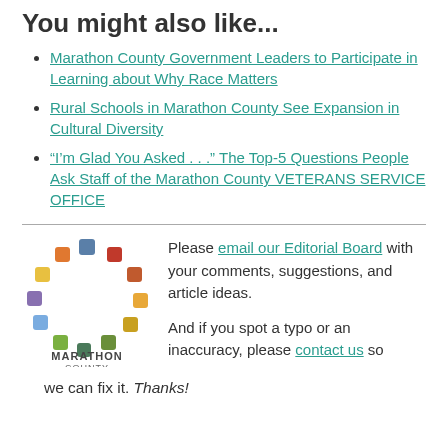You might also like...
Marathon County Government Leaders to Participate in Learning about Why Race Matters
Rural Schools in Marathon County See Expansion in Cultural Diversity
“I’m Glad You Asked . . .” The Top-5 Questions People Ask Staff of the Marathon County VETERANS SERVICE OFFICE
[Figure (logo): Marathon County logo: colorful square tiles arranged in a circle above the text MARATHON COUNTY]
Please email our Editorial Board with your comments, suggestions, and article ideas.

And if you spot a typo or an inaccuracy, please contact us so we can fix it. Thanks!